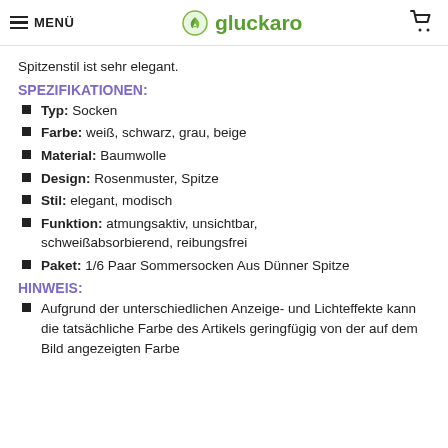MENÜ | gluckaro | [cart]
Spitzenstil ist sehr elegant.
SPEZIFIKATIONEN:
Typ: Socken
Farbe: weiß, schwarz, grau, beige
Material: Baumwolle
Design: Rosenmuster, Spitze
Stil: elegant, modisch
Funktion: atmungsaktiv, unsichtbar, schweißabsorbierend, reibungsfrei
Paket: 1/6 Paar Sommersocken Aus Dünner Spitze
HINWEIS:
Aufgrund der unterschiedlichen Anzeige- und Lichteffekte kann die tatsächliche Farbe des Artikels geringfügig von der auf dem Bild angezeigten Farbe